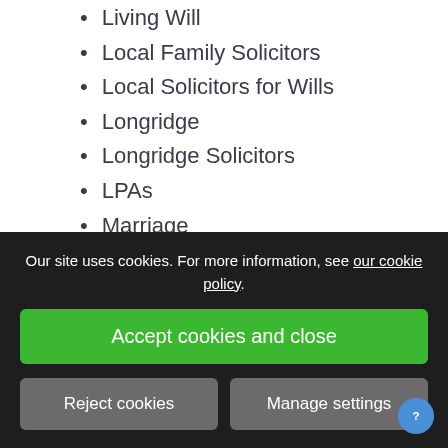Living Will
Local Family Solicitors
Local Solicitors for Wills
Longridge
Longridge Solicitors
LPAs
Marriage
Medical Negligence
Mental Capacity
MG Legal
Money Laundering
Motoring
Personal Injury
Personal Injury Claims
Personal Injury Law Solicitors
Our site uses cookies. For more information, see our cookie policy.
Accept cookies and close
Reject cookies
Manage settings